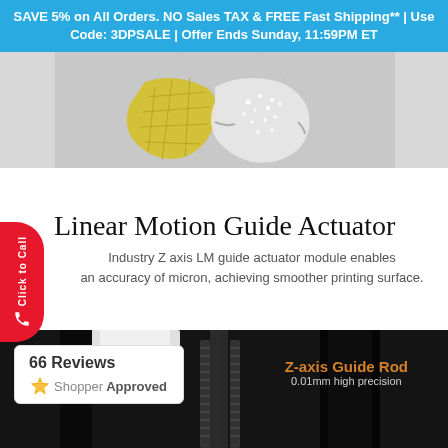SAVE 5% on All Orders. NO Sales TAX & FREE Fast Shipping** | Use Code: 3DPSALE | Offer Ends Sunday, 11:59PM ET
[Figure (photo): Jewelry ring shown split: left half is a yellow 3D-printed lattice version, right half is a polished diamond-encrusted silver ring, on white fabric background with orange accent bars at top]
Linear Motion Guide Actuator
Industry Z axis LM guide actuator module enables an accuracy of micron, achieving smoother printing surface.
[Figure (photo): Close-up photo of a Z-axis guide rod assembly with black metallic threaded rods and guide rails on dark background]
66 Reviews
[Figure (logo): ShopperApproved logo with orange star icon]
Z-axis Guide Rod
0.01mm high precision